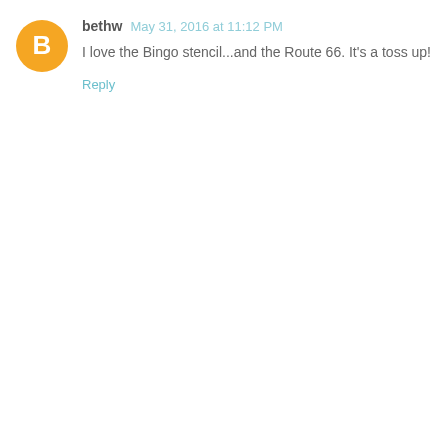[Figure (other): Orange circular blogger avatar icon with white letter B in the center]
bethw May 31, 2016 at 11:12 PM
I love the Bingo stencil...and the Route 66. It's a toss up!
Reply